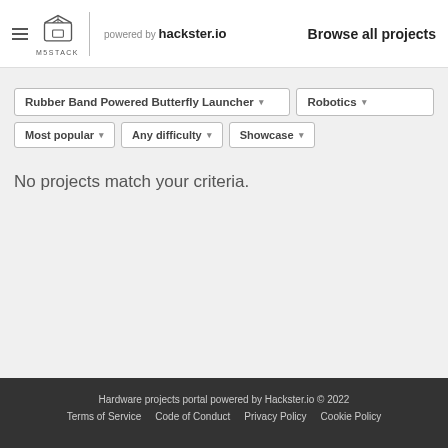M5STACK powered by hackster.io — Browse all projects
Rubber Band Powered Butterfly Launcher ▾
Robotics ▾
Most popular ▾
Any difficulty ▾
Showcase ▾
No projects match your criteria.
Hardware projects portal powered by Hackster.io © 2022
Terms of Service   Code of Conduct   Privacy Policy   Cookie Policy